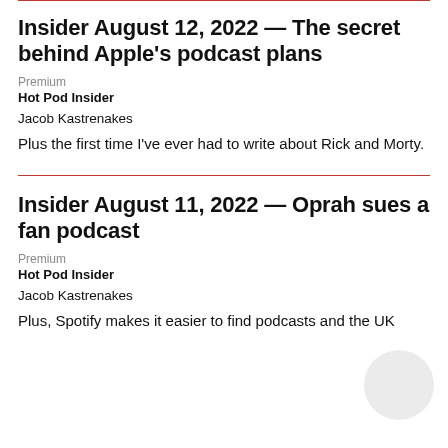Insider August 12, 2022 — The secret behind Apple's podcast plans
Premium
Hot Pod Insider
Jacob Kastrenakes
Plus the first time I've ever had to write about Rick and Morty.
Insider August 11, 2022 — Oprah sues a fan podcast
Premium
Hot Pod Insider
Jacob Kastrenakes
Plus, Spotify makes it easier to find podcasts and the UK